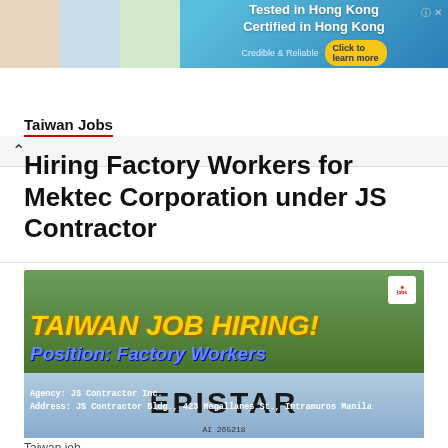[Figure (photo): Advertisement banner: blue background with photos on left side showing lab/medical scenes, text 'Tested in Hong Kong Certified in Hong Kong' with yellow 'Click to learn more' button, and 'Credible & Reliable' text. Info and close icons in top right.]
[Figure (photo): Navigation bar with back/up arrow chevron on grey background]
Taiwan Jobs
Hiring Factory Workers for Mektec Corporation under JS Contractor
[Figure (photo): Job hiring promotional image with green tree background. Text overlay: 'TAIWAN JOB HIRING!' in large yellow italic bold text, 'Position: Factory Workers' in blue italic text, 'Agency: JS Contractor Inc.' and 'Address: JS Contractor Bldg., 423 Magallanes St., Intramuros Manila' in white text. Bottom portion shows 'EPISTAR' sign on building. Small logo in top-right corner.]
Taiwan Job...